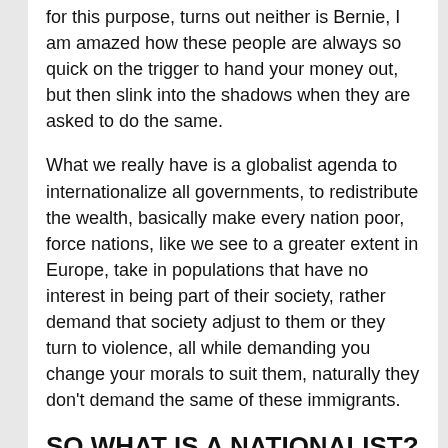for this purpose, turns out neither is Bernie, I am amazed how these people are always so quick on the trigger to hand your money out, but then slink into the shadows when they are asked to do the same.
What we really have is a globalist agenda to internationalize all governments, to redistribute the wealth, basically make every nation poor, force nations, like we see to a greater extent in Europe, take in populations that have no interest in being part of their society, rather demand that society adjust to them or they turn to violence, all while demanding you change your morals to suit them, naturally they don't demand the same of these immigrants.
SO WHAT IS A NATIONALIST?
A nationalist believes that as part of the global society we have a responsibility to aid our fellow man, but never at that point that we weaken our own nation, if migrants